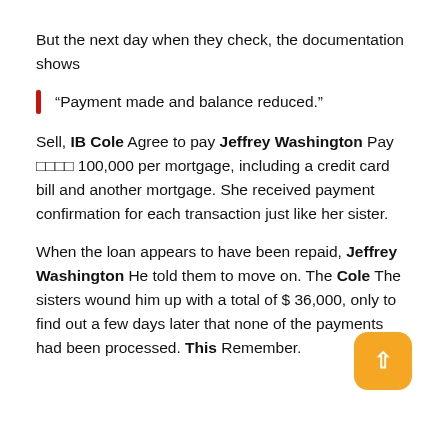But the next day when they check, the documentation shows
“Payment made and balance reduced.”
Sell, IB Cole Agree to pay Jeffrey Washington Pay □□□□ 100,000 per mortgage, including a credit card bill and another mortgage. She received payment confirmation for each transaction just like her sister.
When the loan appears to have been repaid, Jeffrey Washington He told them to move on. The Cole The sisters wound him up with a total of $ 36,000, only to find out a few days later that none of the payments had been processed. This Remember.